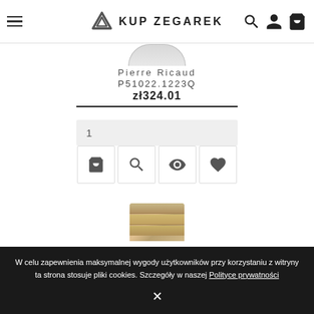KUP ZEGAREK
[Figure (photo): Partial watch face visible at top]
Pierre Ricaud
P51022.1223Q
zł324.01
1
[Figure (infographic): Four action icon buttons: shopping bag, search, eye/view, heart/favorite]
[Figure (photo): Partial watch clasp/bracelet visible at bottom]
W celu zapewnienia maksymalnej wygody użytkowników przy korzystaniu z witryny ta strona stosuje pliki cookies. Szczegóły w naszej Polityce prywatności